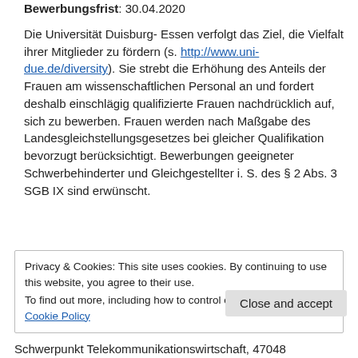Bewerbungsfrist: 30.04.2020
Die Universität Duisburg- Essen verfolgt das Ziel, die Vielfalt ihrer Mitglieder zu fördern (s. http://www.uni-due.de/diversity). Sie strebt die Erhöhung des Anteils der Frauen am wissenschaftlichen Personal an und fordert deshalb einschlägig qualifizierte Frauen nachdrücklich auf, sich zu bewerben. Frauen werden nach Maßgabe des Landesgleichstellungsgesetzes bei gleicher Qualifikation bevorzugt berücksichtigt. Bewerbungen geeigneter Schwerbehinderter und Gleichgestellter i. S. des § 2 Abs. 3 SGB IX sind erwünscht.
Privacy & Cookies: This site uses cookies. By continuing to use this website, you agree to their use.
To find out more, including how to control cookies, see here: Cookie Policy
Close and accept
Schwerpunkt Telekommunikationswirtschaft, 47048